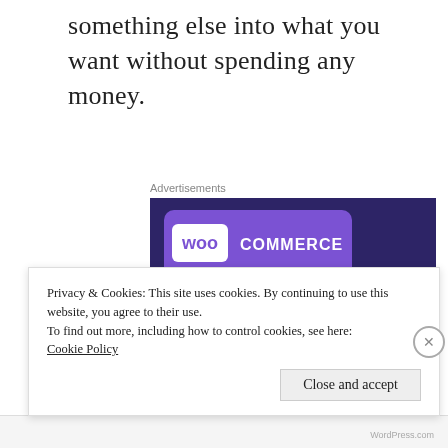something else into what you want without spending any money.
[Figure (illustration): WooCommerce advertisement banner with dark purple background, WooCommerce logo in a lighter purple speech bubble, green triangle shape on the left, cyan circle on the bottom right, and white bold text reading 'Turn your hobby into a business in 8 steps']
Privacy & Cookies: This site uses cookies. By continuing to use this website, you agree to their use.
To find out more, including how to control cookies, see here: Cookie Policy
Close and accept